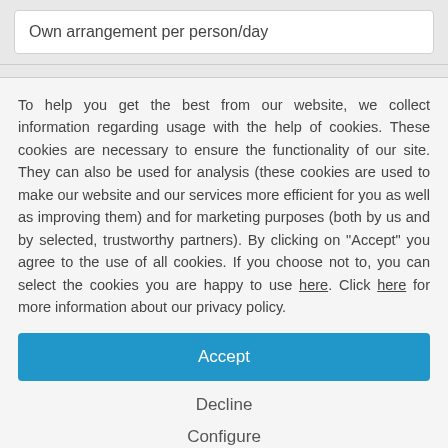Own arrangement per person/day
To help you get the best from our website, we collect information regarding usage with the help of cookies. These cookies are necessary to ensure the functionality of our site. They can also be used for analysis (these cookies are used to make our website and our services more efficient for you as well as improving them) and for marketing purposes (both by us and by selected, trustworthy partners). By clicking on "Accept" you agree to the use of all cookies. If you choose not to, you can select the cookies you are happy to use here. Click here for more information about our privacy policy.
Accept
Decline
Configure